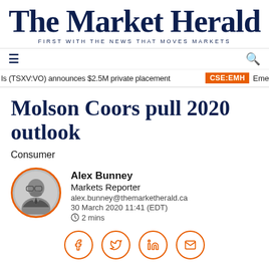The Market Herald — FIRST WITH THE NEWS THAT MOVES MARKETS
Molson Coors pull 2020 outlook
Consumer
Alex Bunney
Markets Reporter
alex.bunney@themarketherald.ca
30 March 2020 11:41 (EDT)
2 mins